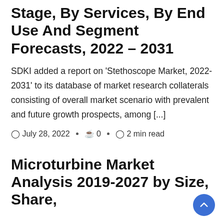Stage, By Services, By End Use And Segment Forecasts, 2022 – 2031
SDKI added a report on 'Stethoscope Market, 2022-2031' to its database of market research collaterals consisting of overall market scenario with prevalent and future growth prospects, among [...]
July 28, 2022 · 0 · 2 min read
Microturbine Market Analysis 2019-2027 by Size, Share,